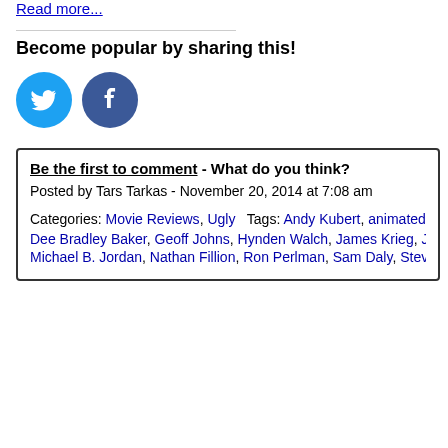Read more...
Become popular by sharing this!
[Figure (illustration): Twitter bird icon (blue circle) and Facebook 'f' icon (blue circle) social share buttons]
Be the first to comment - What do you think? Posted by Tars Tarkas - November 20, 2014 at 7:08 am Categories: Movie Reviews, Ugly   Tags: Andy Kubert, animated, Batman, Batmania, C. T..., Dee Bradley Baker, Geoff Johns, Hynden Walch, James Krieg, James Patrick Stuart, Jay..., Michael B. Jordan, Nathan Fillion, Ron Perlman, Sam Daly, Steve Blum, super heroes, Su...